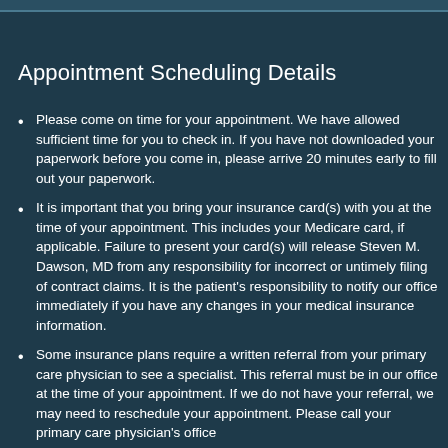Appointment Scheduling Details
Please come on time for your appointment. We have allowed sufficient time for you to check in. If you have not downloaded your paperwork before you come in, please arrive 20 minutes early to fill out your paperwork.
It is important that you bring your insurance card(s) with you at the time of your appointment. This includes your Medicare card, if applicable. Failure to present your card(s) will release Steven M. Dawson, MD from any responsibility for incorrect or untimely filing of contract claims. It is the patient's responsibility to notify our office immediately if you have any changes in your medical insurance information.
Some insurance plans require a written referral from your primary care physician to see a specialist. This referral must be in our office at the time of your appointment. If we do not have your referral, we may need to reschedule your appointment. Please call your primary care physician's office